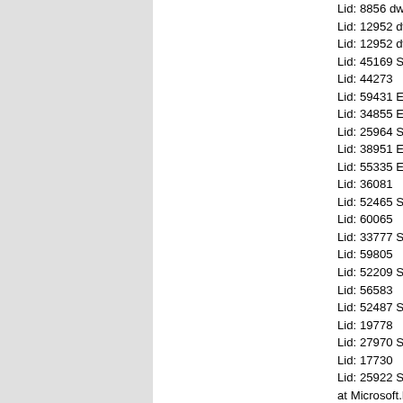Lid: 8856 dwParam: 0x
Lid: 12952 dwParam: 0
Lid: 12952 dwParam: 0
Lid: 45169 StoreEc: 0x
Lid: 44273
Lid: 59431 EMSMDB.E
Lid: 34855 EMSMDB.E
Lid: 25964 StoreEc: 0x
Lid: 38951 EMSMDB.E
Lid: 55335 EMSMDB.E
Lid: 36081
Lid: 52465 StoreEc: 0x
Lid: 60065
Lid: 33777 StoreEc: 0x
Lid: 59805
Lid: 52209 StoreEc: 0x
Lid: 56583
Lid: 52487 StoreEc: 0x
Lid: 19778
Lid: 27970 StoreEc: 0x
Lid: 17730
Lid: 25922 StoreEc: 0x
at Microsoft.Mapi.Map
SafeExInterfaceHandle
at Microsoft.Mapi.ExR
ExRpcConnectionCre